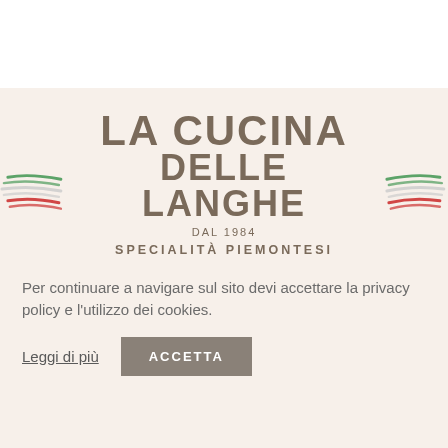[Figure (logo): La Cucina delle Langhe logo with Italian flag swoosh decorations, bold text reading 'LA CUCINA DELLE LANGHE', 'DAL 1984', and 'SPECIALITÀ PIEMONTESI']
Per continuare a navigare sul sito devi accettare la privacy policy e l'utilizzo dei cookies.
Leggi di più
ACCETTA